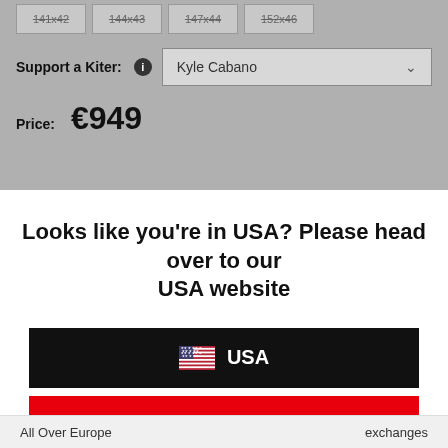[Figure (screenshot): Size selection buttons showing strikethrough sizes: 141x42, 144x43, 147x44, 152x46]
Support a Kiter: ℹ️  Kyle Cabano ▾
Price: €949
Looks like you're in USA? Please head over to our USA website
[Figure (infographic): Black button with USA flag emoji and text USA]
[Figure (infographic): Red button with text Keep on Browsing]
All Over Europe    exchanges